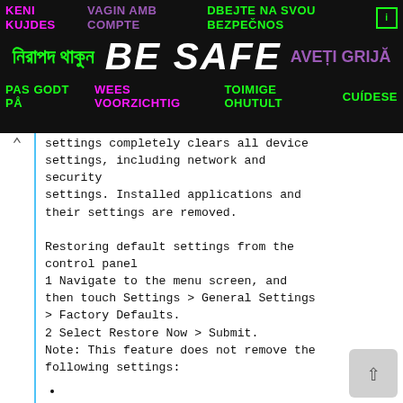[Figure (infographic): Multilingual safety ad banner with text in various languages including Bengali, English 'BE SAFE', Romanian 'AVETI GRIJA', and others on a dark background]
settings completely clears all device settings, including network and security settings. Installed applications and their settings are removed.

Restoring default settings from the control panel
1 Navigate to the menu screen, and then touch Settings > General Settings > Factory Defaults.
2 Select Restore Now > Submit.
Note: This feature does not remove the following settings: